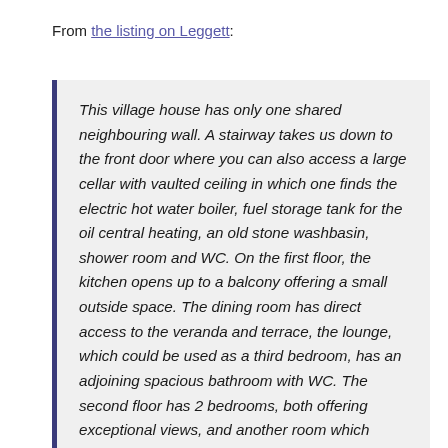From the listing on Leggett:
This village house has only one shared neighbouring wall. A stairway takes us down to the front door where you can also access a large cellar with vaulted ceiling in which one finds the electric hot water boiler, fuel storage tank for the oil central heating, an old stone washbasin, shower room and WC. On the first floor, the kitchen opens up to a balcony offering a small outside space. The dining room has direct access to the veranda and terrace, the lounge, which could be used as a third bedroom, has an adjoining spacious bathroom with WC. The second floor has 2 bedrooms, both offering exceptional views, and another room which could easily be converted into a dressing room or bathroom as required. The bedrooms are